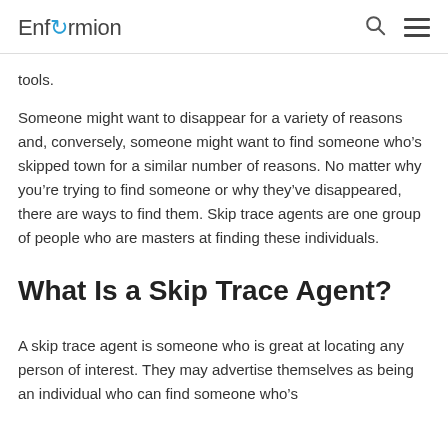Enformion
tools.
Someone might want to disappear for a variety of reasons and, conversely, someone might want to find someone who’s skipped town for a similar number of reasons. No matter why you’re trying to find someone or why they’ve disappeared, there are ways to find them. Skip trace agents are one group of people who are masters at finding these individuals.
What Is a Skip Trace Agent?
A skip trace agent is someone who is great at locating any person of interest. They may advertise themselves as being an individual who can find someone who’s